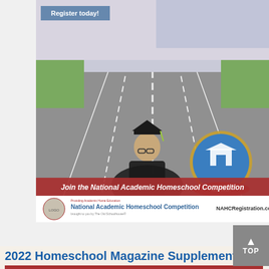[Figure (illustration): Advertisement for the National Academic Homeschool Competition (NAHC). Features a student in graduation cap and gown in a track-starting position on a road, with American flag background. Includes 'Register today!' button, TOS N.A.H.C. badge/logo, red banner reading 'Join the National Academic Homeschool Competition', and a white footer with NAHC logo and NAHCRegistration.com URL.]
2022 Homeschool Magazine Supplement